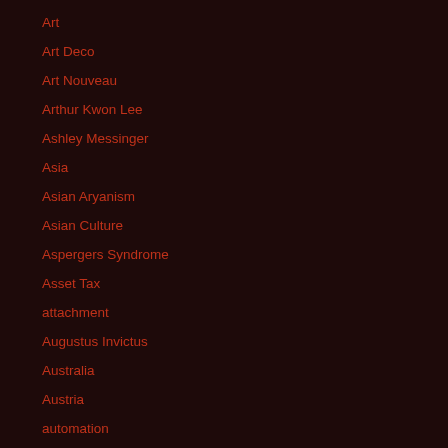Art
Art Deco
Art Nouveau
Arthur Kwon Lee
Ashley Messinger
Asia
Asian Aryanism
Asian Culture
Aspergers Syndrome
Asset Tax
attachment
Augustus Invictus
Australia
Austria
automation